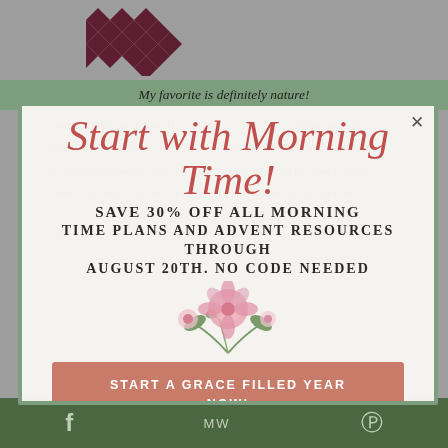[Figure (logo): Quilt pattern logo in dark maroon/burgundy geometric star pattern]
My favorite is definitely nature!
[Figure (screenshot): Popup advertisement overlay: 'Start with Morning Time!' in script font, 'SAVE 30% OFF ALL MORNING TIME PLANS AND ADVENT RESOURCES THROUGH AUGUST 20TH. NO CODE NEEDED' with floral illustration and CTA button 'START A GRACE FILLED YEAR NOW!']
particularly the ocean. It is a sensory delight from the sand, the wind, the crashing waves, the sea life, the tide pools, the beautiful colors of the water, and just how it puts life into perspective. I live over 6 hours from the ocean but it is my favorite place to be.
Reply
f  MW  P